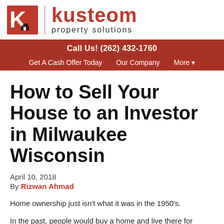[Figure (logo): Kusteom Property Solutions logo with red K icon and house silhouette, vertical divider, and company name in red and grey text]
Call Us! (262) 432-1760
Get A Cash Offer Today   Our Company   More ▾
How to Sell Your House to an Investor in Milwaukee Wisconsin
April 10, 2018
By Rizwan Ahmad
Home ownership just isn't what it was in the 1950's.
In the past, people would buy a home and live there for